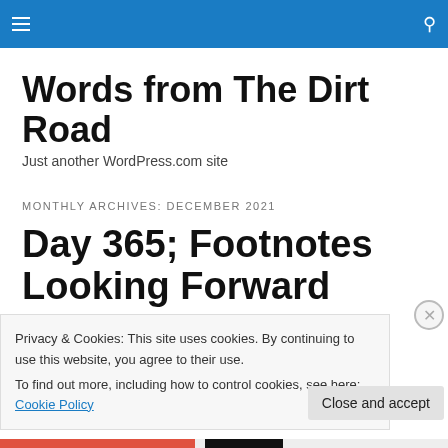Words from The Dirt Road — site navigation header bar
Words from The Dirt Road
Just another WordPress.com site
MONTHLY ARCHIVES: DECEMBER 2021
Day 365; Footnotes Looking Forward
Privacy & Cookies: This site uses cookies. By continuing to use this website, you agree to their use.
To find out more, including how to control cookies, see here: Cookie Policy
Close and accept